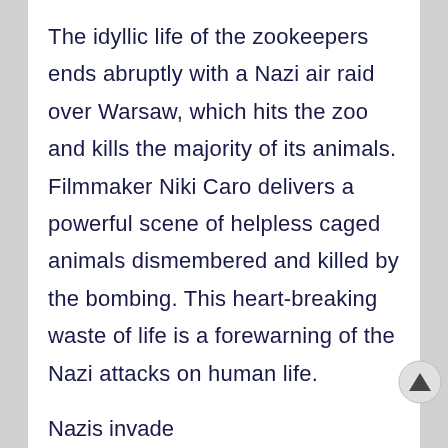The idyllic life of the zookeepers ends abruptly with a Nazi air raid over Warsaw, which hits the zoo and kills the majority of its animals. Filmmaker Niki Caro delivers a powerful scene of helpless caged animals dismembered and killed by the bombing. This heart-breaking waste of life is a forewarning of the Nazi attacks on human life.
Nazis invade
The Nazis invaded Poland